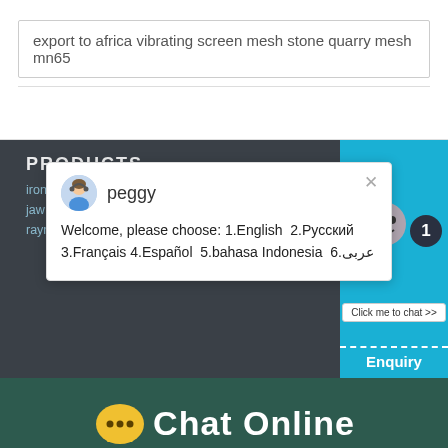export to africa vibrating screen mesh stone quarry mesh mn65
PRODUCTS
[Figure (screenshot): Chat popup with agent named peggy showing language selection options: Welcome, please choose: 1.English 2.Русский 3.Français 4.Español 5.bahasa Indonesia 6.عربى]
iron mining equipment small impact crusher
jaw crusher adopted
raymond grinder parts
CS Series
European
PF Impact
Click me to chat >>
Enquiry
Chat Online